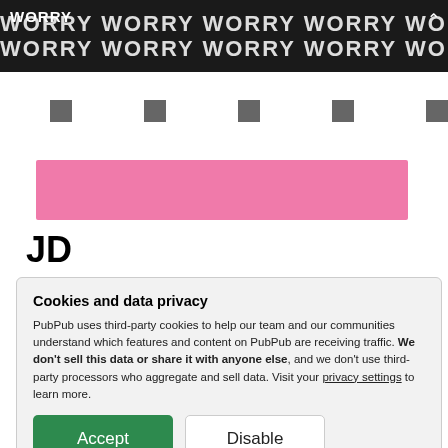[Figure (other): Dark banner with repeating 'WORRY' text pattern in white, with 'WORRY' label and up-arrow icon overlay]
[Figure (other): Row of 7 gray squares evenly spaced horizontally]
[Figure (other): Pink/rose colored horizontal bar]
JD
Cookies and data privacy

PubPub uses third-party cookies to help our team and our communities understand which features and content on PubPub are receiving traffic. We don't sell this data or share it with anyone else, and we don't use third-party processors who aggregate and sell data. Visit your privacy settings to learn more.
Accept
Disable